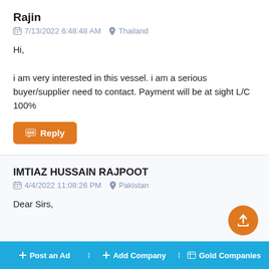Rajin
7/13/2022 6:48:48 AM  Thailand
Hi,

i am very interested in this vessel. i am a serious buyer/supplier need to contact. Payment will be at sight L/C 100%
Reply
IMTIAZ HUSSAIN RAJPOOT
4/4/2022 11:08:26 PM  Pakistan
Dear Sirs,
We need scraps of ships dead and running in conditions 20 yrs old
+ Post an Ad  + Add Company  Gold Companies